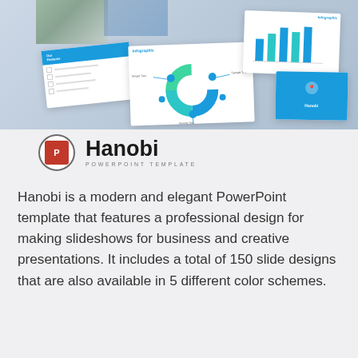[Figure (screenshot): Screenshot of Hanobi PowerPoint template showing multiple slide previews with infographics, bar charts, circle diagrams, and checklist slides. Bottom left shows the Hanobi logo with PowerPoint icon and subtitle 'POWERPOINT TEMPLATE'.]
Hanobi is a modern and elegant PowerPoint template that features a professional design for making slideshows for business and creative presentations. It includes a total of 150 slide designs that are also available in 5 different color schemes.